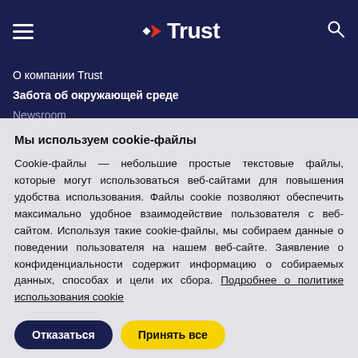[Figure (logo): Trust brand logo with diamond/arrow icon and wordmark 'Trust' in white, on dark navy background header with hamburger menu and search icon]
О компании Trust
Забота об окружающей среде
Newsroom
Мы используем cookie-файлы
Cookie-файлы — небольшие простые текстовые файлы, которые могут использоваться веб-сайтами для повышения удобства использования. Файлы cookie позволяют обеспечить максимально удобное взаимодействие пользователя с веб-сайтом. Используя такие cookie-файлы, мы собираем данные о поведении пользователя на нашем веб-сайте. Заявление о конфиденциальности содержит информацию о собираемых данных, способах и цели их сбора. Подробнее о политике использования cookie
Отказаться  Принять все
Настройки файлов cookie